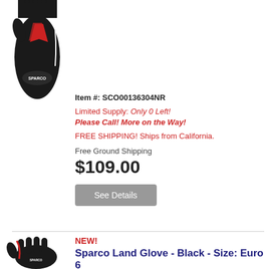[Figure (photo): Sparco racing glove - black with red and white accents, top view, partially cropped at top]
Item #: SCO00136304NR
Limited Supply: Only 0 Left!
Please Call! More on the Way!
FREE SHIPPING! Ships from California.
Free Ground Shipping
$109.00
See Details
[Figure (photo): Sparco Land Glove - black with red and white accents, side/palm view]
NEW!
Sparco Land Glove - Black - Size: Euro 6
(0) Reviews: Write first review